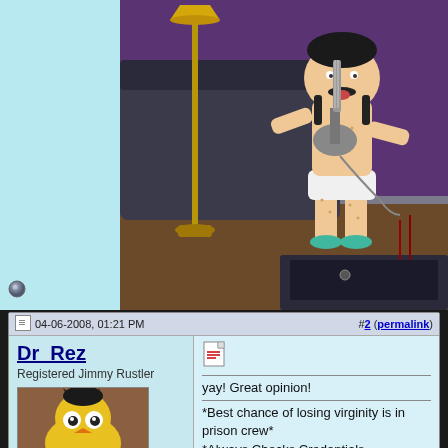[Figure (screenshot): South Park animated scene showing a character in a diaper playing guitar hero in a living room with purple walls, dark couch, and floor lamp]
04-06-2008, 01:21 PM
#2 (permalink)
Dr_Rez
Registered Jimmy Rustler
[Figure (photo): User avatar showing a yellow cartoon bird/muppet character with black spiky hair]
[Figure (other): Attachment icon (paper/document icon)]
yay! Great opinion!
*Best chance of losing virginity is in prison crew*
*Always Checks Credentials Crew*